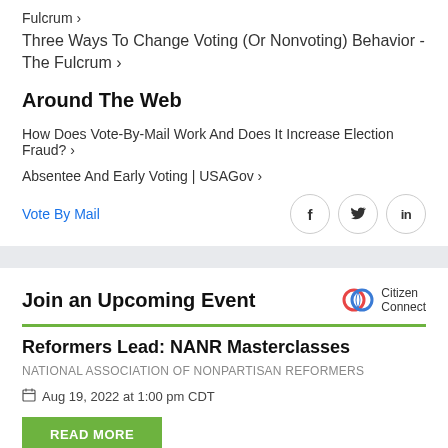Fulcrum ›
Three Ways To Change Voting (Or Nonvoting) Behavior - The Fulcrum ›
Around The Web
How Does Vote-By-Mail Work And Does It Increase Election Fraud? ›
Absentee And Early Voting | USAGov ›
Vote By Mail
Join an Upcoming Event
Reformers Lead: NANR Masterclasses
NATIONAL ASSOCIATION OF NONPARTISAN REFORMERS
Aug 19, 2022 at 1:00 pm CDT
READ MORE